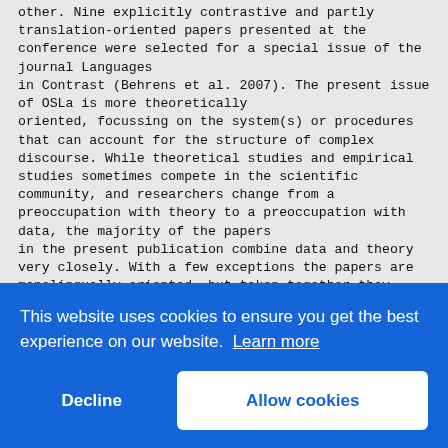other. Nine explicitly contrastive and partly translation-oriented papers presented at the conference were selected for a special issue of the journal Languages in Contrast (Behrens et al. 2007). The present issue of OSLa is more theoretically oriented, focussing on the system(s) or procedures that can account for the structure of complex discourse. While theoretical studies and empirical studies sometimes compete in the scientific community, and researchers change from a preoccupation with theory to a preoccupation with data, the majority of the papers in the present publication combine data and theory very closely. With a few exceptions the papers are monolingually oriented, but taken together they cover a variety of object languages: English, German, Norwegian, French, Hungarian, Turkish, Japanese, and Mongolian. The contributions comprise (i) Three keynote papers by Regine E      , Kjell Joha   , Z    diff of 1 info [1] [2] See http See http://www.hf.uio.no/forskningsprosjekter/sprik/ The SPRIK project at the Faculty of
This website uses cookies to ensure you get the best experience on our website. Learn more
Decline
Allow cookies